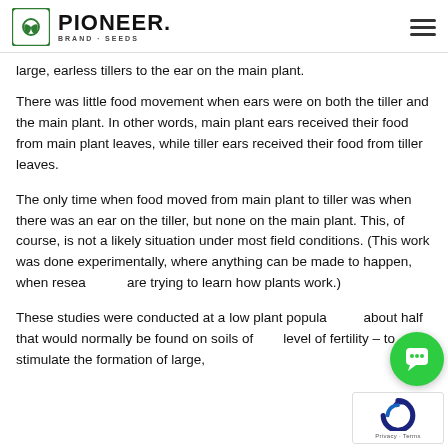PIONEER. BRAND · SEEDS
large, earless tillers to the ear on the main plant.
There was little food movement when ears were on both the tiller and the main plant. In other words, main plant ears received their food from main plant leaves, while tiller ears received their food from tiller leaves.
The only time when food moved from main plant to tiller was when there was an ear on the tiller, but none on the main plant. This, of course, is not a likely situation under most field conditions. (This work was done experimentally, where anything can be made to happen, when researchers are trying to learn how plants work.)
These studies were conducted at a low plant population – about half that would normally be found on soils of that level of fertility – to stimulate the formation of large,